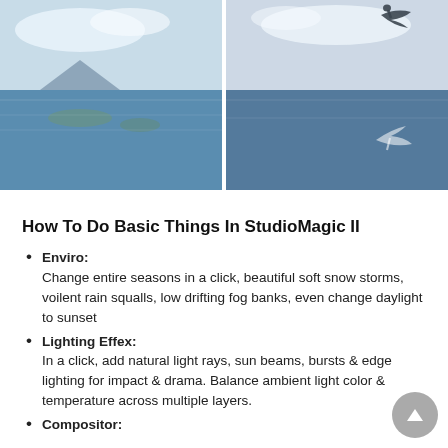[Figure (photo): Two side-by-side photos of a lake or water scene with reflections. Left photo shows calm blue water with cloud and mountain reflections and small islands. Right photo shows the same scene with a bird (heron/egret) and its reflection in the water.]
How To Do Basic Things In StudioMagic II
Enviro: Change entire seasons in a click, beautiful soft snow storms, voilent rain squalls, low drifting fog banks, even change daylight to sunset
Lighting Effex: In a click, add natural light rays, sun beams, bursts & edge lighting for impact & drama. Balance ambient light color & temperature across multiple layers.
Compositor: